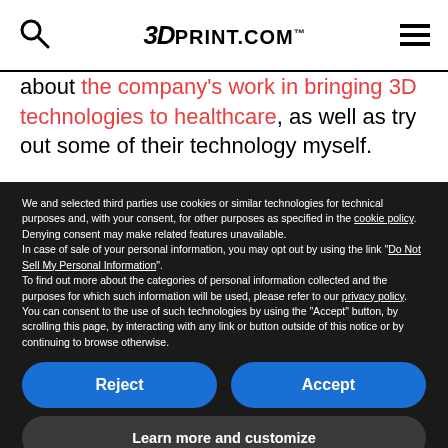3DPRINT.COM
about the company's work in bringing 3D technologies to healthcare, as well as try out some of their technology myself.
We and selected third parties use cookies or similar technologies for technical purposes and, with your consent, for other purposes as specified in the cookie policy. Denying consent may make related features unavailable.
In case of sale of your personal information, you may opt out by using the link "Do Not Sell My Personal Information".
To find out more about the categories of personal information collected and the purposes for which such information will be used, please refer to our privacy policy. You can consent to the use of such technologies by using the "Accept" button, by scrolling this page, by interacting with any link or button outside of this notice or by continuing to browse otherwise.
Reject
Accept
Learn more and customize